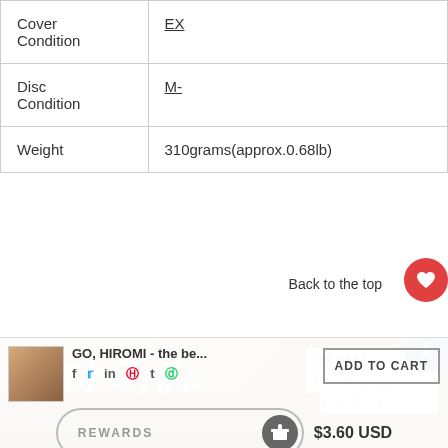|  |  |
| --- | --- |
| Cover Condition | EX |
| Disc Condition | M- |
| Weight | 310grams(approx.0.68lb) |
[Figure (photo): Album cover for Go, Hiromi - The Best, showing Japanese text and artist photo with floating UI overlays including Back to the top button, Add to Cart button, and Rewards section]